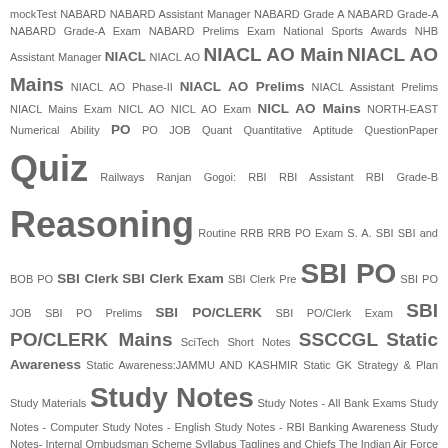mockTest NABARD NABARD Assistant Manager NABARD Grade A NABARD Grade-A NABARD Grade-A Exam NABARD Prelims Exam National Sports Awards NHB Assistant Manager NIACL NIACL AO NIACL AO Main NIACL AO Mains NIACL AO Phase-II NIACL AO Prelims NIACL Assistant Prelims NIACL Mains Exam NICL AO NICL AO Exam NICL AO Mains NORTH-EAST Numerical Ability PO PO JOB Quant Quantitative Aptitude QuestionPaper Quiz Railways Ranjan Gogoi: RBI RBI Assistant RBI Grade-B Reasoning Routine RRB RRB PO Exam S. A. SBI SBI and BOB PO SBI Clerk SBI Clerk Exam SBI Clerk Pre SBI PO SBI PO JOB SBI PO Prelims SBI PO/CLERK SBI PO/Clerk Exam SBI PO/CLERK Mains SciTech Short Notes SSCCGL Static Awareness Static Awareness:JAMMU AND KASHMIR Static GK Strategy & Plan Study Materials Study Notes Study Notes - All Bank Exams Study Notes - Computer Study Notes - English Study Notes - RBI Banking Awareness Study Notes- Internal Ombudsman Scheme Syllabus Taglines and Chiefs The Indian Air Force Uttar Pradesh Vocabulary Vocabulary.Banking